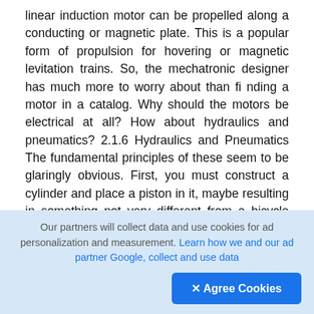linear induction motor can be propelled along a conducting or magnetic plate. This is a popular form of propulsion for hovering or magnetic levitation trains. So, the mechatronic designer has much more to worry about than finding a motor in a catalog. Why should the motors be electrical at all? How about hydraulics and pneumatics? 2.1.6 Hydraulics and Pneumatics The fundamental principles of these seem to be glaringly obvious. First, you must construct a cylinder and place a piston in it, maybe resulting in something not very different from a bicycle pump (see Fig. 2.8). If you pressurize the air or oil in one end of the cylinder, the piston will be forced away. Once again, the details make a simple situation very
[Figure (other): Scroll up button icon (circular arrow pointing up) on dark background]
Our partners will collect data and use cookies for ad personalization and measurement. Learn how we and our ad partner Google, collect and use data
✕ Agree Cookies